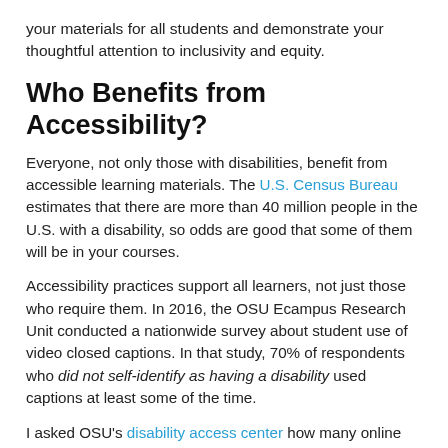your materials for all students and demonstrate your thoughtful attention to inclusivity and equity.
Who Benefits from Accessibility?
Everyone, not only those with disabilities, benefit from accessible learning materials. The U.S. Census Bureau estimates that there are more than 40 million people in the U.S. with a disability, so odds are good that some of them will be in your courses.
Accessibility practices support all learners, not just those who require them. In 2016, the OSU Ecampus Research Unit conducted a nationwide survey about student use of video closed captions. In that study, 70% of respondents who did not self-identify as having a disability used captions at least some of the time.
I asked OSU's disability access center how many online students request disability-related accommodations. So far this year, 23.9% of those served by their office are Ecampus students. Last year, nearly 40% of all Ecampus